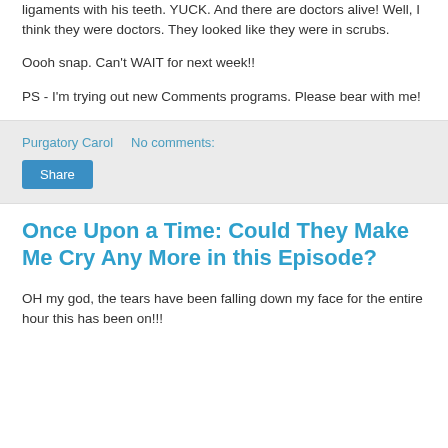ligaments with his teeth.  YUCK.  And there are doctors alive!  Well, I think they were doctors.  They looked like they were in scrubs.
Oooh snap.  Can't WAIT for next week!!
PS - I'm trying out new Comments programs.  Please bear with me!
Purgatory Carol    No comments:
Share
Once Upon a Time: Could They Make Me Cry Any More in this Episode?
OH my god, the tears have been falling down my face for the entire hour this has been on!!!